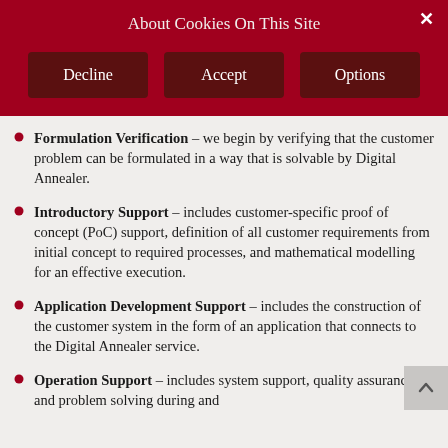About Cookies On This Site
Formulation Verification – we begin by verifying that the customer problem can be formulated in a way that is solvable by Digital Annealer.
Introductory Support – includes customer-specific proof of concept (PoC) support, definition of all customer requirements from initial concept to required processes, and mathematical modelling for an effective execution.
Application Development Support – includes the construction of the customer system in the form of an application that connects to the Digital Annealer service.
Operation Support – includes system support, quality assurance, and problem solving during and